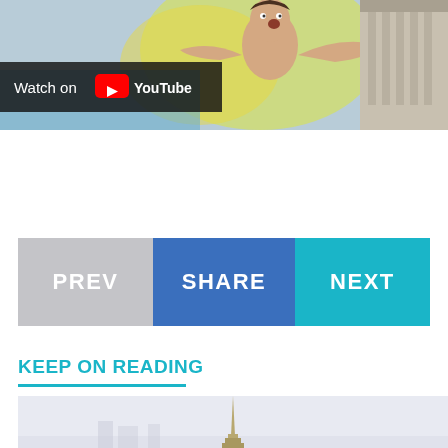[Figure (screenshot): YouTube video thumbnail showing a young man with arms wide open, excited expression, in water with yellow/green background, and a classical building with columns on the right. Overlay shows 'Watch on YouTube' with YouTube logo.]
[Figure (screenshot): Navigation bar with three buttons: PREV (grey), SHARE (blue), NEXT (teal/cyan)]
KEEP ON READING
[Figure (photo): Bottom portion of a cityscape photo showing a tall tower (possibly Burj Khalifa) against a hazy sky]